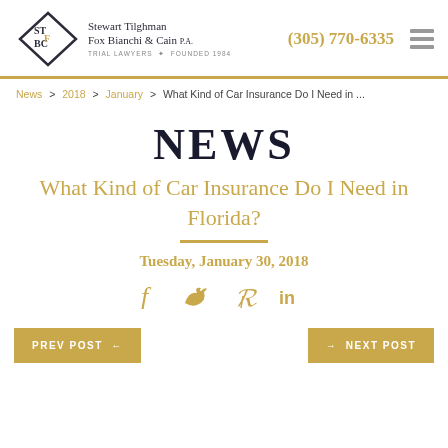Stewart Tilghman Fox Bianchi & Cain P.A. | Trial Lawyers Founded 1984 | (305) 770-6335
News > 2018 > January > What Kind of Car Insurance Do I Need in ...
NEWS
What Kind of Car Insurance Do I Need in Florida?
Tuesday, January 30, 2018
PREV POST ←
→ NEXT POST